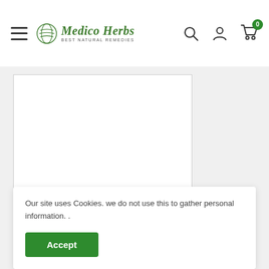Medico Herbs - Best Natural Remedies
[Figure (other): White product image card placeholder]
[Figure (other): Open box / product icon outline]
Our site uses Cookies. we do not use this to gather personal information. .
Accept